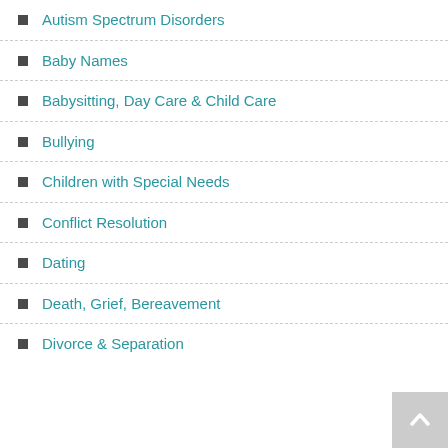Autism Spectrum Disorders
Baby Names
Babysitting, Day Care & Child Care
Bullying
Children with Special Needs
Conflict Resolution
Dating
Death, Grief, Bereavement
Divorce & Separation